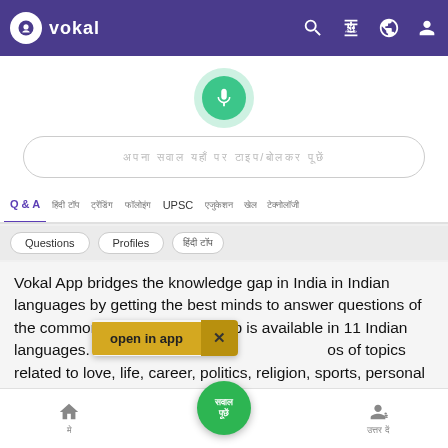vokal
[Figure (screenshot): Vokal app search interface with microphone button and Hindi text search bar]
Q & A  UPSC
Questions  Profiles
Vokal App bridges the knowledge gap in India in Indian languages by getting the best minds to answer questions of the common man. The Vokal App is available in 11 Indian languages. Users ask open in app × os of topics related to love, life, career, politics, religion, sports, personal care etc. We have 1000s of experts from different walks of life answering questions on the Vokal App. People can also ask
होम  उत्तर दें